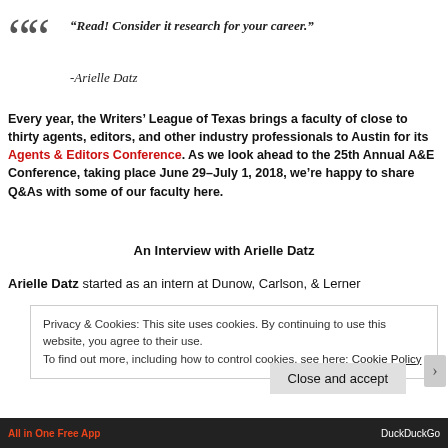“Read! Consider it research for your career.”
-Arielle Datz
Every year, the Writers’ League of Texas brings a faculty of close to thirty agents, editors, and other industry professionals to Austin for its Agents & Editors Conference. As we look ahead to the 25th Annual A&E Conference, taking place June 29–July 1, 2018, we’re happy to share Q&As with some of our faculty here.
An Interview with Arielle Datz
Arielle Datz started as an intern at Dunow, Carlson, & Lerner
Privacy & Cookies: This site uses cookies. By continuing to use this website, you agree to their use.
To find out more, including how to control cookies, see here: Cookie Policy
Close and accept